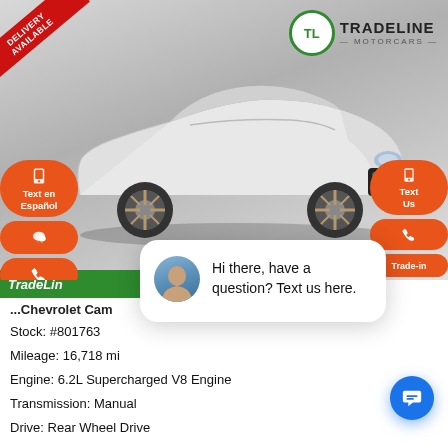[Figure (photo): White Chevrolet Camaro ZL1 convertible sports car on a light grey background. Tradeline Motorcars dealer logo in upper right. Red 'Delivery Available' diagonal banner in upper left corner. Orange pill-shaped buttons on left and right sides for text/call/trade-in actions. Chat popup overlay at bottom right with avatar and message 'Hi there, have a question? Text us here.']
Chevrolet Cam...
Stock: #801763
Mileage: 16,718 mi
Engine: 6.2L Supercharged V8 Engine
Transmission: Manual
Drive: Rear Wheel Drive